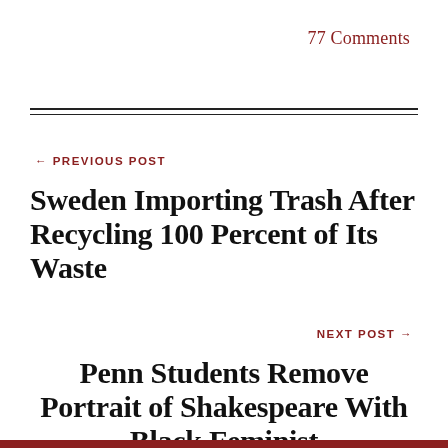77 Comments
← PREVIOUS POST
Sweden Importing Trash After Recycling 100 Percent of Its Waste
NEXT POST →
Penn Students Remove Portrait of Shakespeare With Black Feminist